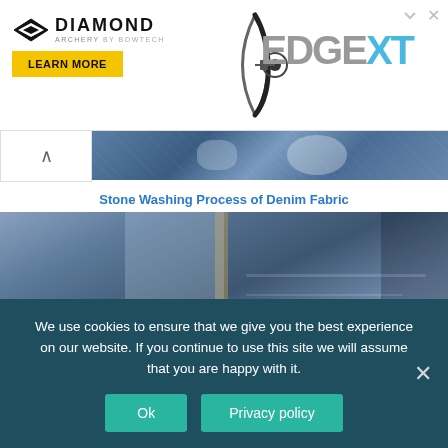[Figure (screenshot): Diamond Archery advertisement banner featuring Diamond Archery by Bowtech logo, a bow image, EDGE XT text, and a yellow LEARN MORE button]
[Figure (photo): Denim fabric pile in blue tones related to stone washing process]
Stone Washing Process of Denim Fabric
[Figure (photo): Blue jeans close-up photo with text overlay reading 'Enzyme Washing Proc...' related to enzyme washing process]
We use cookies to ensure that we give you the best experience on our website. If you continue to use this site we will assume that you are happy with it.
Ok
Privacy policy